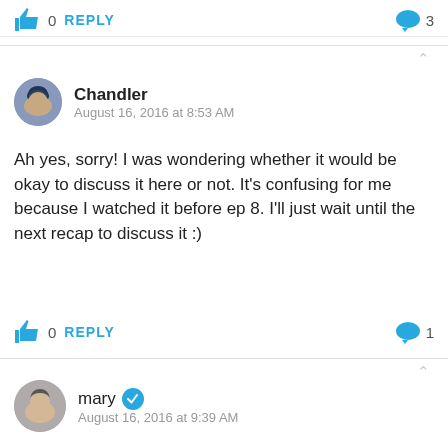0  REPLY   3
Chandler
August 16, 2016 at 8:53 AM
Ah yes, sorry! I was wondering whether it would be okay to discuss it here or not. It's confusing for me because I watched it before ep 8. I'll just wait until the next recap to discuss it :)
0  REPLY   1
mary
August 16, 2016 at 9:39 AM
The comment policy says spoilers are anything that happens beyond what's discussed in the recap.